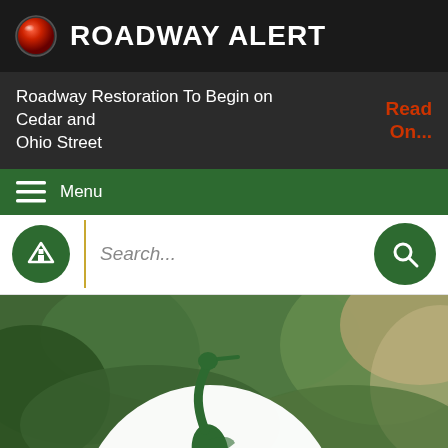ROADWAY ALERT
Roadway Restoration To Begin on Cedar and Ohio Street
Read On...
Menu
Search...
[Figure (illustration): A white circle logo with a green heron silhouette standing in reeds, overlaid on a blurred nature/green background photograph]